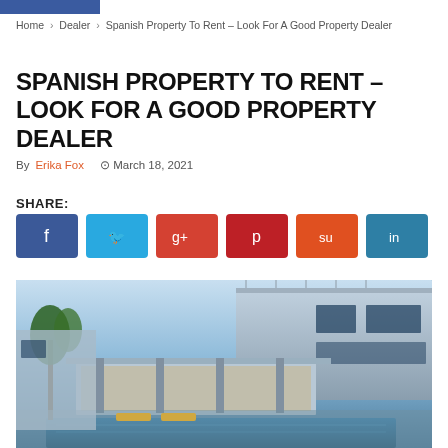Home › Dealer › Spanish Property To Rent – Look For A Good Property Dealer
SPANISH PROPERTY TO RENT – LOOK FOR A GOOD PROPERTY DEALER
By Erika Fox  ⊙ March 18, 2021
SHARE:
[Figure (infographic): Six social media share buttons: Facebook (dark blue), Twitter (light blue), Google+ (red), Pinterest (dark red), StumbleUpon (orange-red), LinkedIn (teal blue)]
[Figure (photo): Luxury modern Spanish villa at dusk with pool, palm trees, illuminated terrace, and blue sky background]